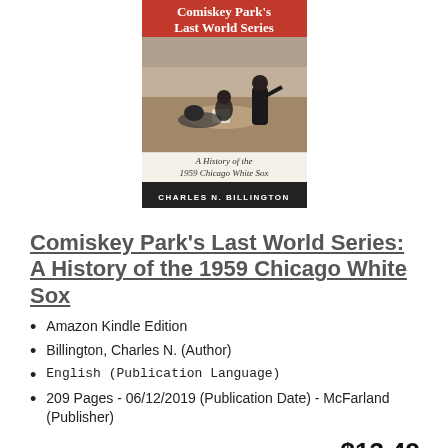[Figure (photo): Book cover of 'Comiskey Park's Last World Series: A History of the 1959 Chicago White Sox' by Charles N. Billington. Red title bar at top, black and white photo of baseball play at a base with umpire calling, decorative subtitle band, and dark author bar.]
Comiskey Park's Last World Series: A History of the 1959 Chicago White Sox
Amazon Kindle Edition
Billington, Charles N. (Author)
English (Publication Language)
209 Pages - 06/12/2019 (Publication Date) - McFarland (Publisher)
$13.49
View Here